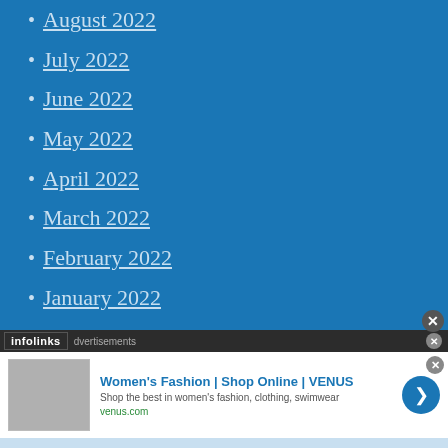August 2022
July 2022
June 2022
May 2022
April 2022
March 2022
February 2022
January 2022
December 2021
November 2021
October 2021
September 2021
[Figure (screenshot): Infolinks advertisement banner for Women's Fashion at VENUS (venus.com), showing a clothing image, title 'Women's Fashion | Shop Online | VENUS', description 'Shop the best in women's fashion, clothing, swimwear', URL 'venus.com', and a blue circular arrow button.]